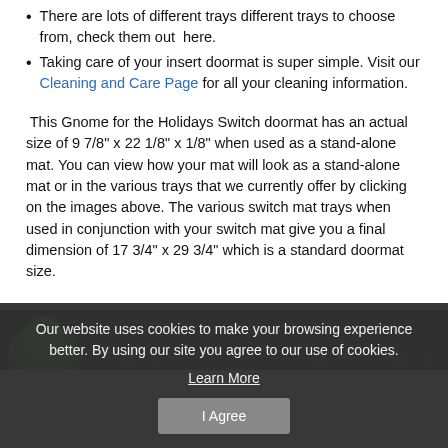There are lots of different trays different trays to choose from, check them out here.
Taking care of your insert doormat is super simple. Visit our Cleaning and Care Page for all your cleaning information.
This Gnome for the Holidays Switch doormat has an actual size of 9 7/8" x 22 1/8" x 1/8" when used as a stand-alone mat. You can view how your mat will look as a stand-alone mat or in the various trays that we currently offer by clicking on the images above. The various switch mat trays when used in conjunction with your switch mat give you a final dimension of 17 3/4" x 29 3/4" which is a standard doormat size.
[Figure (photo): Dark green background image showing partial view of a gnome holiday doormat with leaves and decorative elements]
Our website uses cookies to make your browsing experience better. By using our site you agree to our use of cookies.
Learn More
I Agree